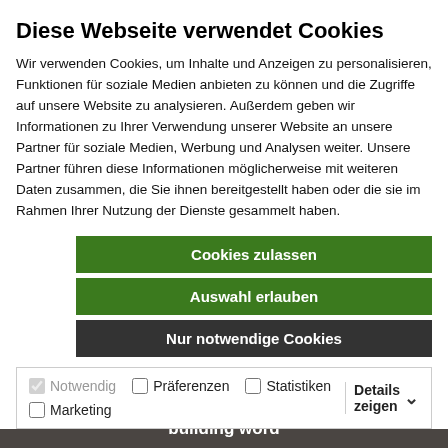Diese Webseite verwendet Cookies
Wir verwenden Cookies, um Inhalte und Anzeigen zu personalisieren, Funktionen für soziale Medien anbieten zu können und die Zugriffe auf unsere Website zu analysieren. Außerdem geben wir Informationen zu Ihrer Verwendung unserer Website an unsere Partner für soziale Medien, Werbung und Analysen weiter. Unsere Partner führen diese Informationen möglicherweise mit weiteren Daten zusammen, die Sie ihnen bereitgestellt haben oder die sie im Rahmen Ihrer Nutzung der Dienste gesammelt haben.
Cookies zulassen
Auswahl erlauben
Nur notwendige Cookies
Notwendig  Präferenzen  Statistiken  Marketing  Details zeigen
more
Portal Winterberg
public utility building word